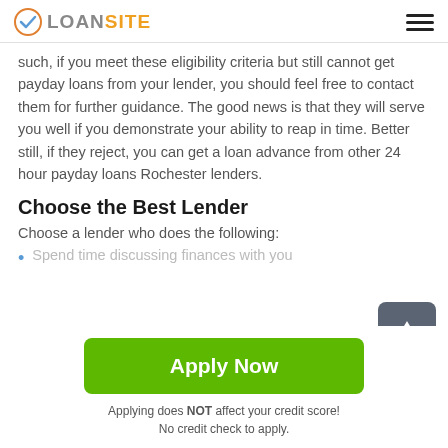LOANSITE
such, if you meet these eligibility criteria but still cannot get payday loans from your lender, you should feel free to contact them for further guidance. The good news is that they will serve you well if you demonstrate your ability to reap in time. Better still, if they reject, you can get a loan advance from other 24 hour payday loans Rochester lenders.
Choose the Best Lender
Choose a lender who does the following:
Spend time discussing finances with you
Apply Now
Applying does NOT affect your credit score!
No credit check to apply.